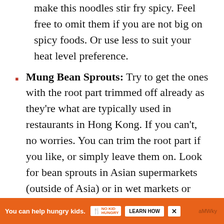make this noodles stir fry spicy. Feel free to omit them if you are not big on spicy foods. Or use less to suit your heat level preference.
Mung Bean Sprouts: Try to get the ones with the root part trimmed off already as they're what are typically used in restaurants in Hong Kong. If you can't, no worries. You can trim the root part if you like, or simply leave them on. Look for bean sprouts in Asian supermarkets (outside of Asia) or in wet markets or supermarkets if you're based in Asia.
Yellow Chinese Chives: These are milder and sweeter than green Chinese chives (also k...
You can help hungry kids. NO KID HUNGRY LEARN HOW